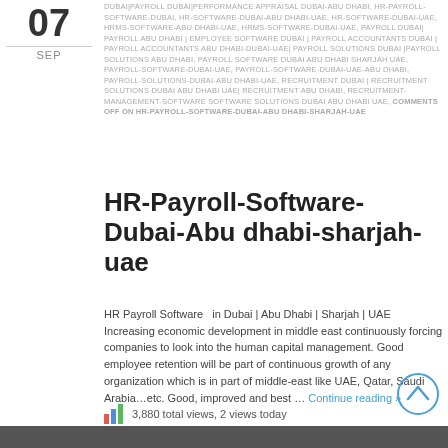07 SEP
DUBAI|PAYROLL DUBAI|PERFORMANCE APPRAISAL DUBAI-ABU DHABI, HR-PAYROLL-SOFTWARE-DUBAI, HR-SOFTWARE-DUBAI-ABU DHABI-UAE, HR-SOFTWARE-DUBAI-UAE, HRMS-SOFTWARE-ABU DHABI-UAE, HRMS-SOFTWARE-DUBAI-UAE, PAYROLL DUBAI| PAYROLL ABU DHABI | EMPLOYEE SOFTWARE DUBAI | PAYROLL ACCOUNTANTS DUBAI | PAYROLL ACCOUNTANTS ABU DHABI-DUBAI-UAE| PAYROLL SOLUTIONS DUBAI |PAYROLL SOLUTIONS ABU DHABI, PAYROLL SOFTWARE DUBAI ABU DHABI SHARJAH UAE, PAYROLL-SOFTWARE-DUBAI-UAE, PAYROLL-SOFTWARE-DUBAI-UAE-ABU DHABI, PAYROLL-SOLUTIONS-DUBAI-ABU DHABI-UAE, RECRUITMENT DUBAI | RECRUITMENT SOLUTIONS DUBAI ABU DHABI UAE| RECRUITMENT ABU DHABI, RECRUITMENT-MANAGEMENT-SOFTWARE SOFTWARE SOLUTIONS DUBAI ABU DHABI UAE, COMMENTS OFF ON HR-PAYROLL-SOFTWARE-DUBAI-ABU DHABI-SHARJAH-UAE
HR-Payroll-Software-Dubai-Abu dhabi-sharjah-uae
HR Payroll Software  in Dubai | Abu Dhabi | Sharjah | UAE Increasing economic development in middle east continuously forcing companies to look into the human capital management. Good employee retention will be part of continuous growth of any organization which is in part of middle-east like UAE, Qatar, Saudi Arabia…etc. Good, improved and best … Continue reading »
3,880 total views, 2 views today